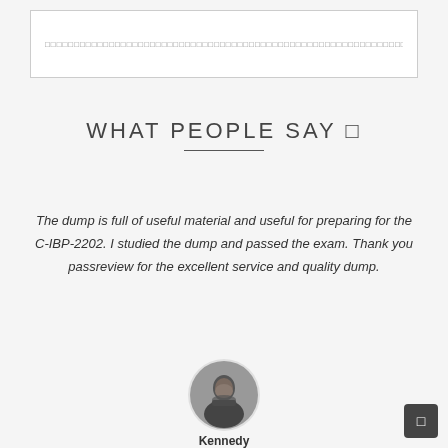□□□□□□□□□□□□□□□□□□□□□□□□□□□□□□□□□□□□□□□□□□□□□□□□□□□□□□□□□□□□□□□□□□□□□□
WHAT PEOPLE SAY 🔲
The dump is full of useful material and useful for preparing for the C-IBP-2202. I studied the dump and passed the exam. Thank you passreview for the excellent service and quality dump.
[Figure (photo): Circular avatar photo of a bearded man wearing glasses and a suit jacket]
Kennedy